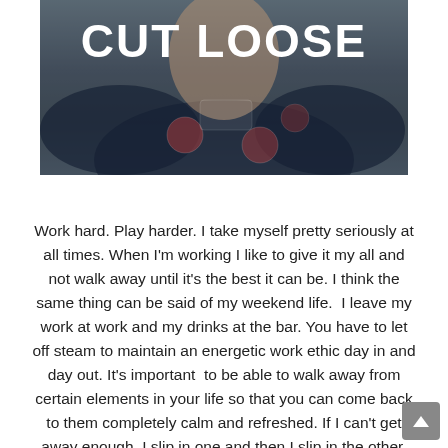[Figure (photo): A muscular young man wearing a dark navy/black t-shirt with rugby championship graphics and badges. The text 'CUT LOOSE' is overlaid in large bold white capital letters at the top of the image.]
Work hard. Play harder. I take myself pretty seriously at all times. When I'm working I like to give it my all and not walk away until it's the best it can be. I think the same thing can be said of my weekend life.  I leave my work at work and my drinks at the bar. You have to let off steam to maintain an energetic work ethic day in and day out. It's important  to be able to walk away from certain elements in your life so that you can come back to them completely calm and refreshed. If I can't get away enough, I slip in one and then I slip in the other, and I feel my best when I excel in both.